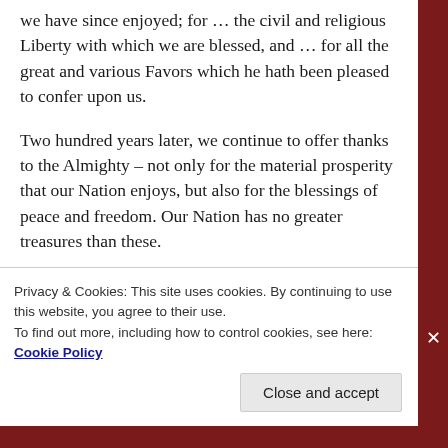we have since enjoyed; for … the civil and religious Liberty with which we are blessed, and … for all the great and various Favors which he hath been pleased to confer upon us.
Two hundred years later, we continue to offer thanks to the Almighty – not only for the material prosperity that our Nation enjoys, but also for the blessings of peace and freedom. Our Nation has no greater treasures than these.
Privacy & Cookies: This site uses cookies. By continuing to use this website, you agree to their use.
To find out more, including how to control cookies, see here: Cookie Policy